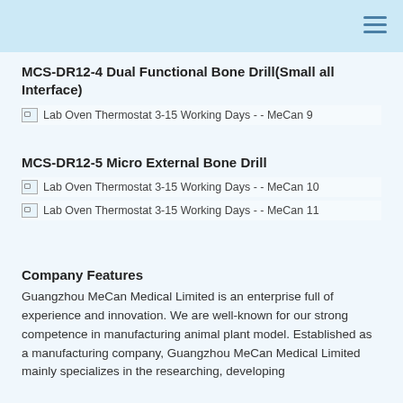MCS-DR12-4 Dual Functional Bone Drill(Small all Interface)
[Figure (photo): Broken image placeholder: Lab Oven Thermostat 3-15 Working Days - - MeCan 9]
MCS-DR12-5 Micro External Bone Drill
[Figure (photo): Broken image placeholder: Lab Oven Thermostat 3-15 Working Days - - MeCan 10]
[Figure (photo): Broken image placeholder: Lab Oven Thermostat 3-15 Working Days - - MeCan 11]
Company Features
Guangzhou MeCan Medical Limited is an enterprise full of experience and innovation. We are well-known for our strong competence in manufacturing animal plant model. Established as a manufacturing company, Guangzhou MeCan Medical Limited mainly specializes in the researching, developing